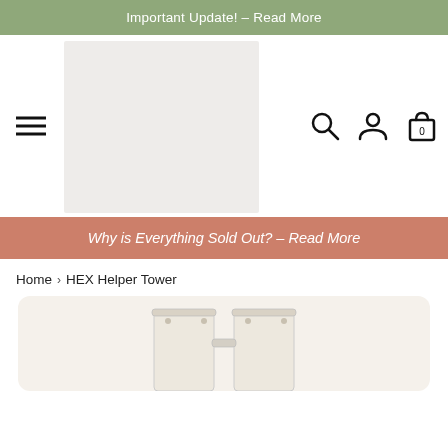Important Update! – Read More
[Figure (logo): Website logo placeholder image (light gray rectangle)]
Why is Everything Sold Out? – Read More
Home > HEX Helper Tower
[Figure (photo): Product photo of HEX Helper Tower, cream/white colored standing tower structure, partial view at bottom of page]